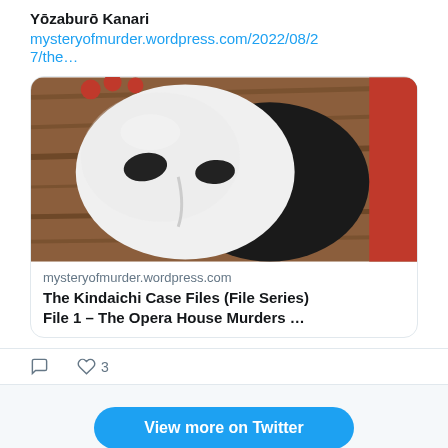Yōzaburō Kanari
mysteryofmurder.wordpress.com/2022/08/27/the…
[Figure (photo): A white theatrical mask lying on a wooden surface with red beads/cherries, partially overlapping a black mask, with a red background panel on the right side.]
mysteryofmurder.wordpress.com
The Kindaichi Case Files (File Series) File 1 – The Opera House Murders …
3 likes
View more on Twitter
Learn more about privacy on Twitter